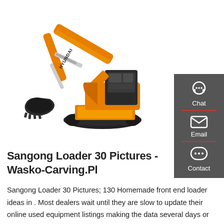[Figure (photo): Orange Hyundai excavator/loader on white background, side view showing boom, arm, bucket, cab, and tracks]
Sangong Loader 30 Pictures - Wasko-Carving.Pl
Sangong Loader 30 Pictures; 130 Homemade front end loader ideas in . Most dealers wait until they are slow to update their online used equipment listings making the data several days or weeks out of date. Here at Messicks we do things